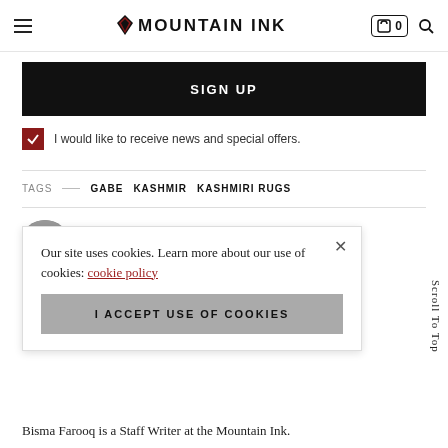MOUNTAIN INK
SIGN UP
I would like to receive news and special offers.
TAGS — GABE KASHMIR KASHMIRI RUGS
[Figure (photo): Author avatar, circular profile photo]
Our site uses cookies. Learn more about our use of cookies: cookie policy
I ACCEPT USE OF COOKIES
Scroll To Top
Bisma Farooq is a Staff Writer at the Mountain Ink.